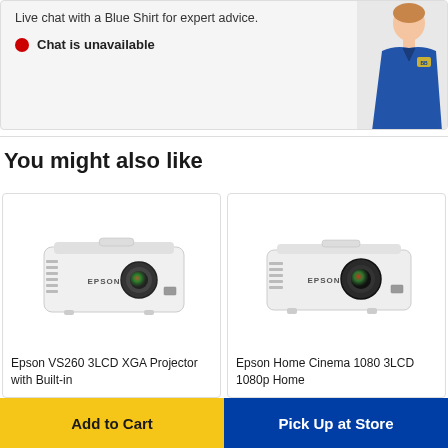Live chat with a Blue Shirt for expert advice.
Chat is unavailable
[Figure (photo): Woman in blue Best Buy polo shirt]
You might also like
[Figure (photo): Epson VS260 3LCD XGA projector product photo]
Epson VS260 3LCD XGA Projector with Built-in
[Figure (photo): Epson Home Cinema 1080 3LCD 1080p projector product photo]
Epson Home Cinema 1080 3LCD 1080p Home
Add to Cart
Pick Up at Store